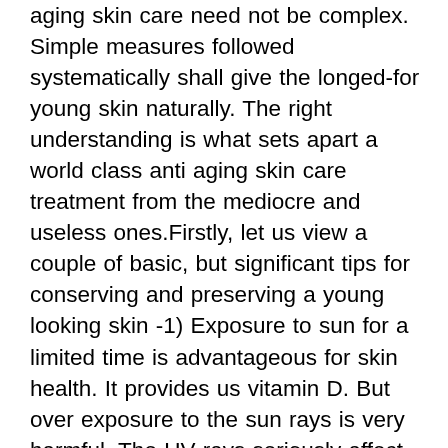aging skin care need not be complex. Simple measures followed systematically shall give the longed-for young skin naturally. The right understanding is what sets apart a world class anti aging skin care treatment from the mediocre and useless ones.Firstly, let us view a couple of basic, but significant tips for conserving and preserving a young looking skin -1) Exposure to sun for a limited time is advantageous for skin health. It provides us vitamin D. But over exposure to the sun rays is very harmful. The UV rays seriously affect the construction of Hyaluronan by our skin cells. The function of hyaluronan is really crucial in tissue repair.Even Though employing sunscreen applications offers some temporary remedy, but most of them accommodate harmful chemical substances and preservatives that do long-term harm to skin health. Therefore, excessive use of sunscreen applications should be avoided as much as possible.2) Our body is made up 70% of water. Although, it might seem like a oftentimes heard health advice, but it is very important. Drinking In enough of purified safe water is the key for a well-preserved youthful skin. You should try to take in more o